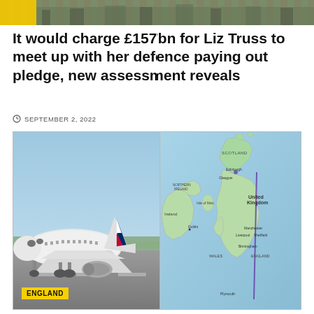[Figure (photo): Top banner image showing military scene with yellow overlay on left]
It would charge £157bn for Liz Truss to meet up with her defence paying out pledge, new assessment reveals
SEPTEMBER 2, 2022
[Figure (photo): Left: airplane on runway with blue-red-white tail. Right: map of UK and Ireland showing a flight path line.]
ENGLAND